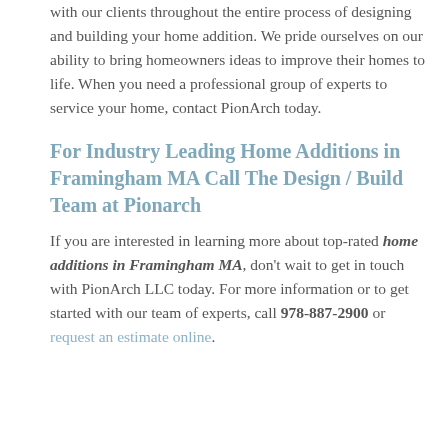with our clients throughout the entire process of designing and building your home addition. We pride ourselves on our ability to bring homeowners ideas to improve their homes to life. When you need a professional group of experts to service your home, contact PionArch today.
For Industry Leading Home Additions in Framingham MA Call The Design / Build Team at Pionarch
If you are interested in learning more about top-rated home additions in Framingham MA, don't wait to get in touch with PionArch LLC today. For more information or to get started with our team of experts, call 978-887-2900 or request an estimate online.